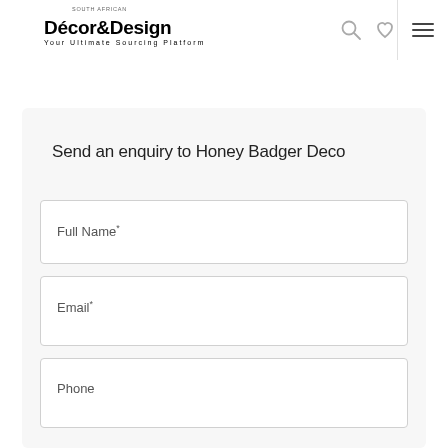Décor&Design — Your Ultimate Sourcing Platform
Send an enquiry to Honey Badger Deco
Full Name *
Email *
Phone